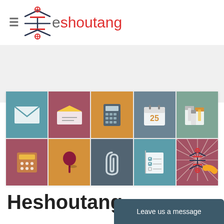[Figure (logo): Heshoutang logo with stylized Chinese character icon in dark blue/red and red text 'heshoutang' with gray 'e' prefix]
[Figure (illustration): Grid of 10 flat design office/communication icons: envelope (closed), envelope (open), calculator, calendar showing 25, binders, telephone/keypad, pushpin, paperclip, notepad with checklist, scissors with orange circle. Bottom-right cell shows Heshoutang logo overlay.]
Heshoutang
Leave us a message